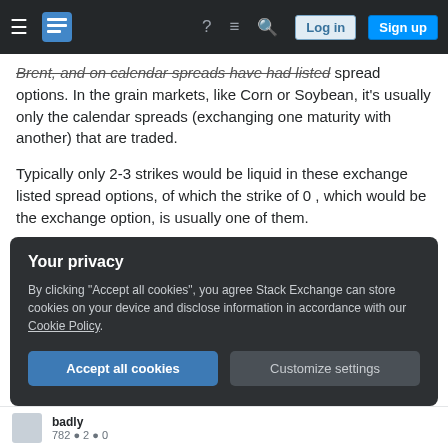Navigation bar with hamburger menu, Stack Exchange logo, help, chat, search icons, Log in and Sign up buttons
Brent, and on calendar spreads have had listed spread options. In the grain markets, like Corn or Soybean, it's usually only the calendar spreads (exchanging one maturity with another) that are traded.
Typically only 2-3 strikes would be liquid in these exchange listed spread options, of which the strike of 0 , which would be the exchange option, is usually one of them.
See these links as an example:
Your privacy
By clicking "Accept all cookies", you agree Stack Exchange can store cookies on your device and disclose information in accordance with our Cookie Policy.
Accept all cookies  Customize settings